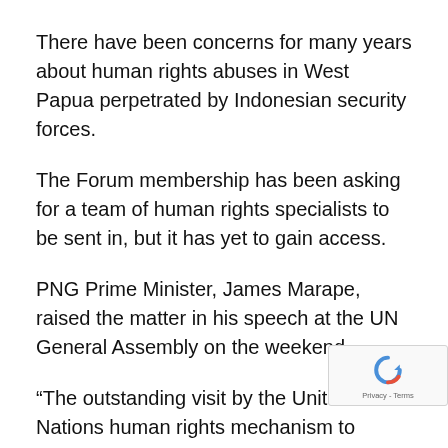There have been concerns for many years about human rights abuses in West Papua perpetrated by Indonesian security forces.
The Forum membership has been asking for a team of human rights specialists to be sent in, but it has yet to gain access.
PNG Prime Minister, James Marape, raised the matter in his speech at the UN General Assembly on the weekend.
“The outstanding visit by the United Nations human rights mechanism to address the alleged human rights concerns in our regional neighbourhood. This visit is very important to ensure that the greater people’s of the region have pea within their respective sovereignties and their rights a cultural dignaties are fully preserved and maintained,” he